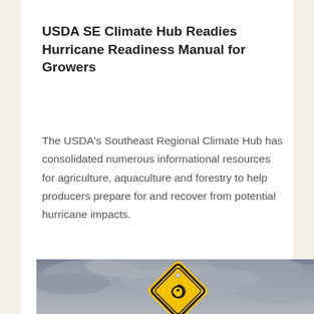USDA SE Climate Hub Readies Hurricane Readiness Manual for Growers
The USDA's Southeast Regional Climate Hub has consolidated numerous informational resources for agriculture, aquaculture and forestry to help producers prepare for and recover from potential hurricane impacts.
[Figure (photo): A yellow diamond-shaped hurricane warning sign with a black hurricane spiral symbol, set against a dramatic stormy grey cloudy sky background.]